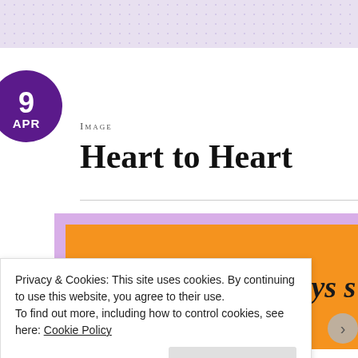9 APR
Image
Heart to Heart
[Figure (illustration): Orange background image with large bold italic quote text beginning: "We may not always s..." with purple/lavender border visible]
Privacy & Cookies: This site uses cookies. By continuing to use this website, you agree to their use.
To find out more, including how to control cookies, see here: Cookie Policy
Close and accept